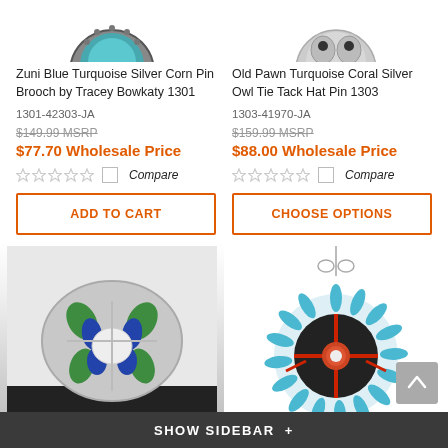[Figure (photo): Partial view of Zuni Blue Turquoise Silver Corn Pin Brooch (top cropped)]
[Figure (photo): Partial view of Old Pawn Turquoise Coral Silver Owl Tie Tack Hat Pin (top cropped)]
Zuni Blue Turquoise Silver Corn Pin Brooch by Tracey Bowkaty 1301
1301-42303-JA
$149.99 MSRP
$77.70 Wholesale Price
Compare
ADD TO CART
Old Pawn Turquoise Coral Silver Owl Tie Tack Hat Pin 1303
1303-41970-JA
$159.99 MSRP
$88.00 Wholesale Price
Compare
CHOOSE OPTIONS
[Figure (photo): Zuni silver inlaid turtle ring with green, blue, and white stone inlay]
[Figure (photo): Zuni turquoise needlepoint sunface pendant with coral and black inlay on silver chain]
SHOW SIDEBAR +